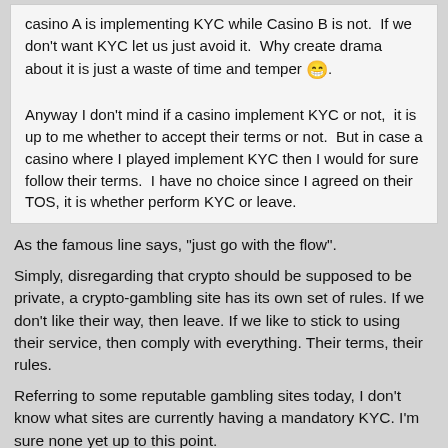casino A is implementing KYC while Casino B is not.  If we don't want KYC let us just avoid it.  Why create drama about it is just a waste of time and temper 😁.

Anyway I don't mind if a casino implement KYC or not,  it is up to me whether to accept their terms or not.  But in case a casino where I played implement KYC then I would for sure follow their terms.  I have no choice since I agreed on their TOS, it is whether perform KYC or leave.
As the famous line says, "just go with the flow".

Simply, disregarding that crypto should be supposed to be private, a crypto-gambling site has its own set of rules. If we don't like their way, then leave. If we like to stick to using their service, then comply with everything. Their terms, their rules.

Referring to some reputable gambling sites today, I don't know what sites are currently having a mandatory KYC. I'm sure none yet up to this point.
Economy / Gambling / Re: Some Crazy Fun Facts About Casinos And Gambling...
on: August 28, 2022, 09:38:54 PM